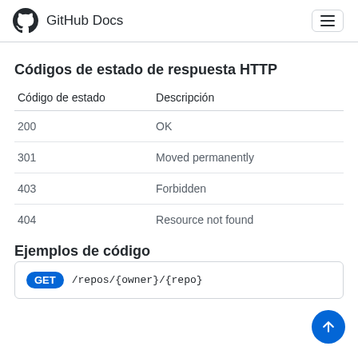GitHub Docs
Códigos de estado de respuesta HTTP
| Código de estado | Descripción |
| --- | --- |
| 200 | OK |
| 301 | Moved permanently |
| 403 | Forbidden |
| 404 | Resource not found |
Ejemplos de código
GET /repos/{owner}/{repo}